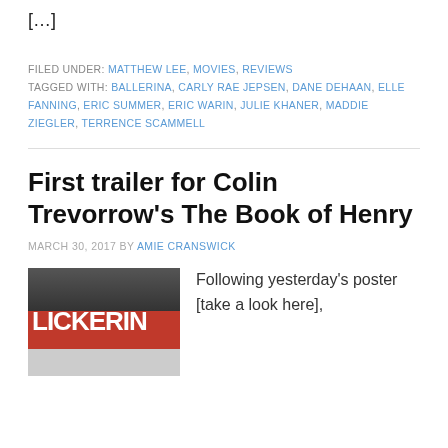[…]
FILED UNDER: MATTHEW LEE, MOVIES, REVIEWS
TAGGED WITH: BALLERINA, CARLY RAE JEPSEN, DANE DEHAAN, ELLE FANNING, ERIC SUMMER, ERIC WARIN, JULIE KHANER, MADDIE ZIEGLER, TERRENCE SCAMMELL
First trailer for Colin Trevorrow's The Book of Henry
MARCH 30, 2017 BY AMIE CRANSWICK
[Figure (photo): Thumbnail image with red background showing partial text LICKERIN]
Following yesterday's poster [take a look here],